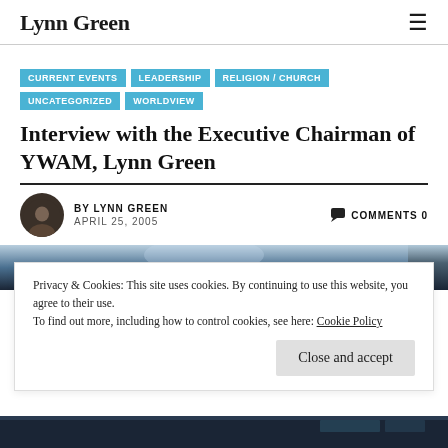Lynn Green
CURRENT EVENTS
LEADERSHIP
RELIGION / CHURCH
UNCATEGORIZED
WORLDVIEW
Interview with the Executive Chairman of YWAM, Lynn Green
BY LYNN GREEN
APRIL 25, 2005
COMMENTS 0
[Figure (photo): Dark blue tech/electronics background image partially visible at bottom of page]
Privacy & Cookies: This site uses cookies. By continuing to use this website, you agree to their use.
To find out more, including how to control cookies, see here: Cookie Policy
Close and accept